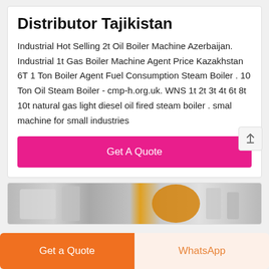Distributor Tajikistan
Industrial Hot Selling 2t Oil Boiler Machine Azerbaijan. Industrial 1t Gas Boiler Machine Agent Price Kazakhstan 6T 1 Ton Boiler Agent Fuel Consumption Steam Boiler . 10 Ton Oil Steam Boiler - cmp-h.org.uk. WNS 1t 2t 3t 4t 6t 8t 10t natural gas light diesel oil fired steam boiler . smal machine for small industries
Get A Quote
[Figure (photo): Industrial boiler machinery photo showing pipes and equipment in a facility]
Get a Quote
WhatsApp